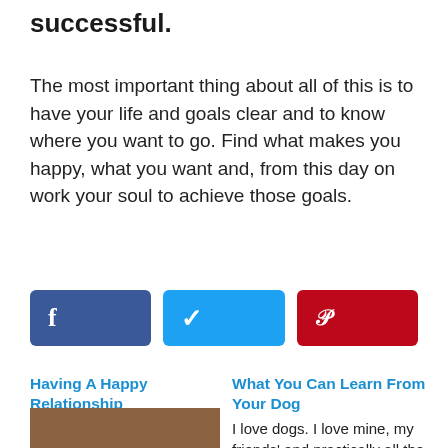successful.
The most important thing about all of this is to have your life and goals clear and to know where you want to go. Find what makes you happy, what you want and, from this day on work your soul to achieve those goals.
[Figure (infographic): Three social sharing buttons: Facebook (blue), Twitter (cyan), Pinterest (red)]
Having A Happy Relationship
Why do couples fight so often? Why do men and women have so many problems, everywhere in the
What You Can Learn From Your Dog
I love dogs. I love mine, my friends' and practically all the rest. It's no coincidence: there's a lot in dogs
[Figure (photo): Partial thumbnail image with brown/tan background at bottom of page]